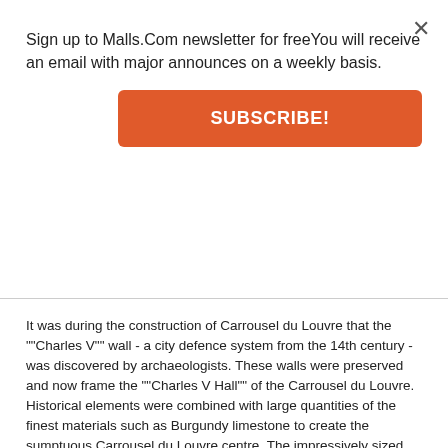Sign up to Malls.Com newsletter for freeYou will receive an email with major announces on a weekly basis.
SUBSCRIBE!
It was during the construction of Carrousel du Louvre that the ""Charles V"" wall - a city defence system from the 14th century - was discovered by archaeologists. These walls were preserved and now frame the ""Charles V Hall"" of the Carrousel du Louvre. Historical elements were combined with large quantities of the finest materials such as Burgundy limestone to create the sumptuous Carrousel du Louvre centre. The impressively sized centre is 275 metres in length and has a surface area of no less than 25,000 m².
Planning
The shopping mall contains one of the few entrances to the Louvre museum. It also includes a convention centre and exhibition hall.